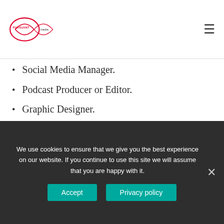Pursuant Media
Social Media Manager.
Podcast Producer or Editor.
Graphic Designer.
Travel Agent.
Career or Life Coach.
Food Delivery Services.
Furniture Maker.
What business services are in-demand?
What are the Most In-Demand Services businesses need?
We use cookies to ensure that we give you the best experience on our website. If you continue to use this site we will assume that you are happy with it.